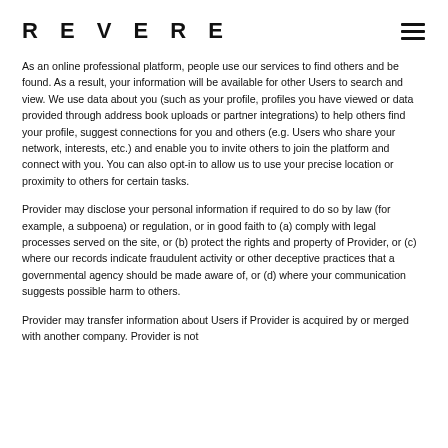REVERE
As an online professional platform, people use our services to find others and be found. As a result, your information will be available for other Users to search and view. We use data about you (such as your profile, profiles you have viewed or data provided through address book uploads or partner integrations) to help others find your profile, suggest connections for you and others (e.g. Users who share your network, interests, etc.) and enable you to invite others to join the platform and connect with you. You can also opt-in to allow us to use your precise location or proximity to others for certain tasks.
Provider may disclose your personal information if required to do so by law (for example, a subpoena) or regulation, or in good faith to (a) comply with legal processes served on the site, or (b) protect the rights and property of Provider, or (c) where our records indicate fraudulent activity or other deceptive practices that a governmental agency should be made aware of, or (d) where your communication suggests possible harm to others.
Provider may transfer information about Users if Provider is acquired by or merged with another company. Provider is not